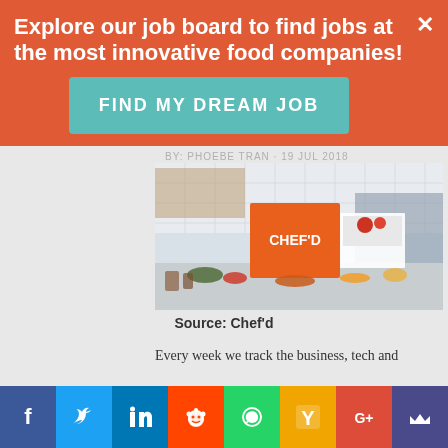Explore our job board to find jobs at the most innovative food companies!
FIND MY DREAM JOB
BY: PHOEBE TRAN · 19 Jul 2018
[Figure (photo): Photo of Chef'd meal kit box with fresh ingredients spread on a kitchen counter]
Source: Chef'd
Every week we track the business, tech and
[Figure (infographic): Social media sharing bar with Facebook, Twitter, LinkedIn, Reddit, WhatsApp, Hacker News, Google+, and another icon]